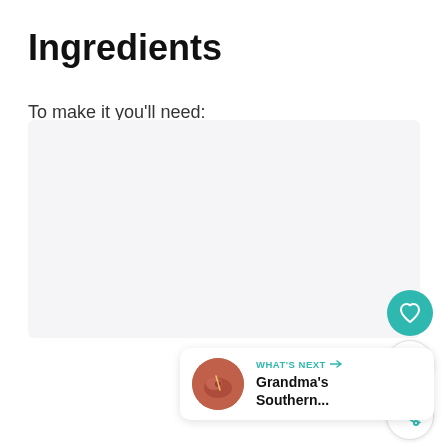Ingredients
To make it you'll need:
[Figure (other): Empty light gray content placeholder box for ingredients list]
[Figure (infographic): Floating UI action buttons: teal heart/like button, count showing 5, and share button with teal share icon]
[Figure (infographic): What's Next card with thumbnail image of a red dish, label 'WHAT'S NEXT →' in teal, and text 'Grandma's Southern...']